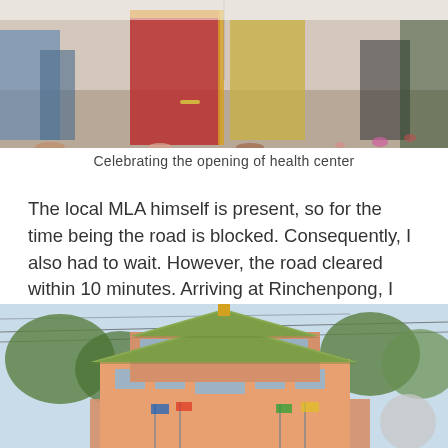[Figure (photo): Bottom half of people at a health center opening ceremony; woman in red sari prominent in center]
Celebrating the opening of health center
The local MLA himself is present, so for the time being the road is blocked. Consequently, I also had to wait. However, the road cleared within 10 minutes. Arriving at Rinchenpong, I left my hotel in my right hand and found Gurung Gumpha a little further away. This newly formed gumpha is beautifully decorated.
[Figure (photo): Gurung Gumpha temple building, a multi-storey pink and orange traditional Buddhist/Hindu style structure with green roof, surrounded by trees and flags, blue sky background, with a circular logo/watermark in bottom right]